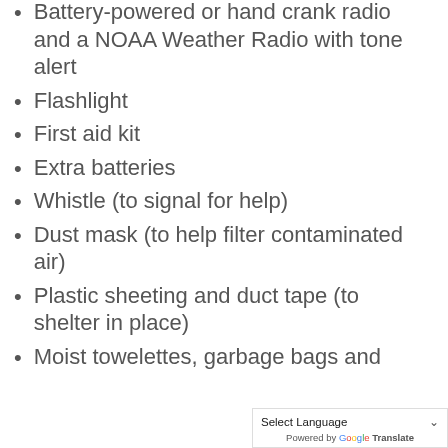Battery-powered or hand crank radio and a NOAA Weather Radio with tone alert
Flashlight
First aid kit
Extra batteries
Whistle (to signal for help)
Dust mask (to help filter contaminated air)
Plastic sheeting and duct tape (to shelter in place)
Moist towelettes, garbage bags and